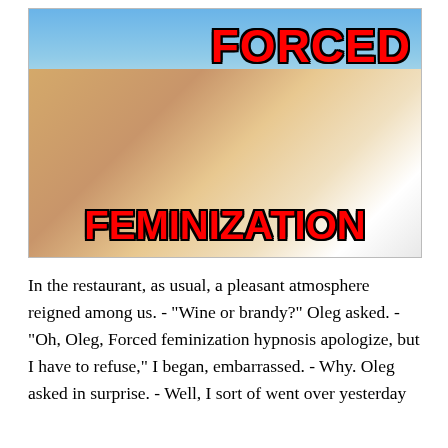[Figure (photo): Woman in bikini lying down with text overlays reading 'FORCED FEMINIZATION' in red bold letters with black outline]
In the restaurant, as usual, a pleasant atmosphere reigned among us. - "Wine or brandy?" Oleg asked. - "Oh, Oleg, Forced feminization hypnosis apologize, but I have to refuse," I began, embarrassed. - Why. Oleg asked in surprise. - Well, I sort of went over yesterday